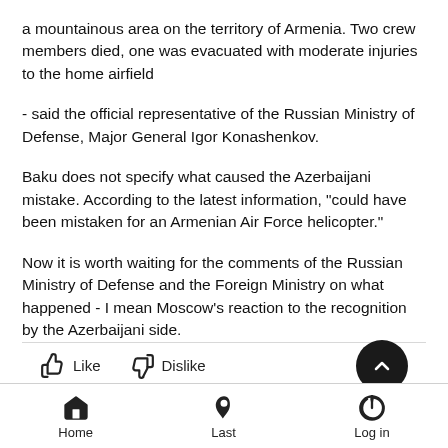a mountainous area on the territory of Armenia. Two crew members died, one was evacuated with moderate injuries to the home airfield
- said the official representative of the Russian Ministry of Defense, Major General Igor Konashenkov.
Baku does not specify what caused the Azerbaijani mistake. According to the latest information, "could have been mistaken for an Armenian Air Force helicopter."
Now it is worth waiting for the comments of the Russian Ministry of Defense and the Foreign Ministry on what happened - I mean Moscow's reaction to the recognition by the Azerbaijani side.
Home  Last  Log in